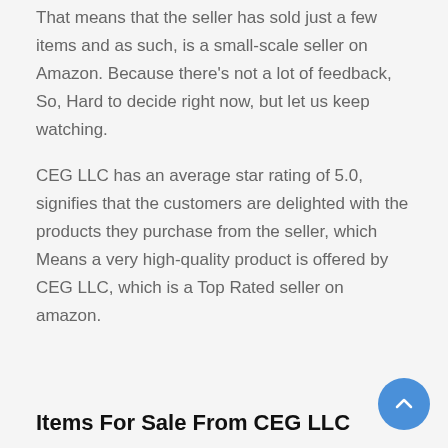That means that the seller has sold just a few items and as such, is a small-scale seller on Amazon. Because there's not a lot of feedback, So, Hard to decide right now, but let us keep watching.
CEG LLC has an average star rating of 5.0, signifies that the customers are delighted with the products they purchase from the seller, which Means a very high-quality product is offered by CEG LLC, which is a Top Rated seller on amazon.
Items For Sale From CEG LLC